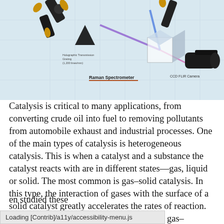[Figure (illustration): Scientific illustration of a Raman Spectrometer setup with optical components, lasers (purple and blue beams), a holographic transmission grating, and a CCD FLIR Camera. The diagram shows interconnected black mechanical components with gold/yellow connectors against a light blue grid background.]
Catalysis is critical to many applications, from converting crude oil into fuel to removing pollutants from automobile exhaust and industrial processes. One of the main types of catalysis is heterogeneous catalysis. This is when a catalyst and a substance the catalyst reacts with are in different states—gas, liquid or solid. The most common is gas–solid catalysis. In this type, the interaction of gases with the surface of a solid catalyst greatly accelerates the rates of reaction. Until the last decade, scientists examining gas– [...]en studied these
Loading [Contrib]/a11y/accessibility-menu.js